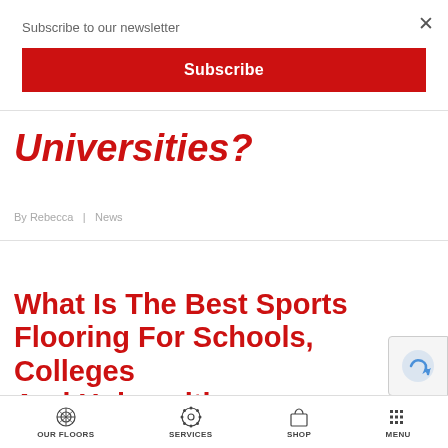Subscribe to our newsletter
Subscribe
Universities?
By Rebecca | News
What Is The Best Sports Flooring For Schools, Colleges And Universities?
OUR FLOORS | SERVICES | SHOP | MENU